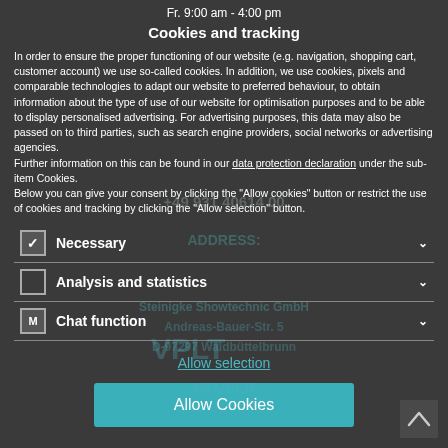Fr. 9:00 am - 4:00 pm
Cookies and tracking
In order to ensure the proper functioning of our website (e.g. navigation, shopping cart, customer account) we use so-called cookies. In addition, we use cookies, pixels and comparable technologies to adapt our website to preferred behaviour, to obtain information about the type of use of our website for optimisation purposes and to be able to display personalised advertising. For advertising purposes, this data may also be passed on to third parties, such as search engine providers, social networks or advertising agencies.
Further information on this can be found in our data protection declaration under the sub-item Cookies.
Below you can give your consent by clicking the "Allow cookies" button or restrict the use of cookies and tracking by clicking the "Allow selection" button.
Necessary
Analysis and statistics
Chat function
Allow selection
Allow Cookies